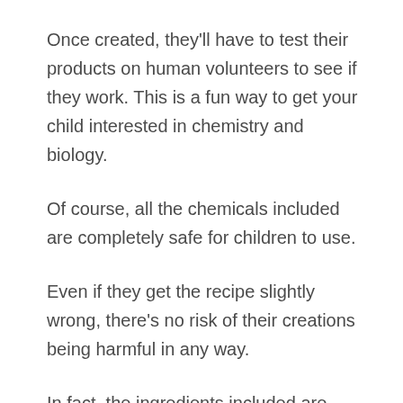Once created, they'll have to test their products on human volunteers to see if they work. This is a fun way to get your child interested in chemistry and biology.
Of course, all the chemicals included are completely safe for children to use.
Even if they get the recipe slightly wrong, there's no risk of their creations being harmful in any way.
In fact, the ingredients included are designed to combine to make a useful soap and bath bomb!